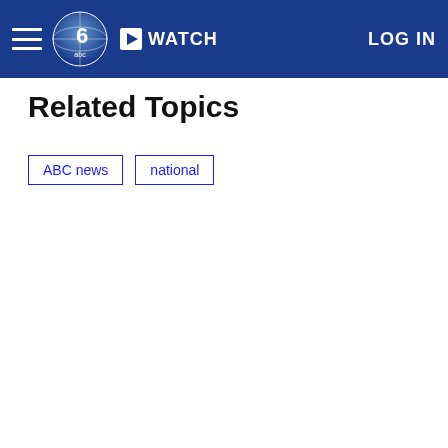WATCH  LOG IN
Related Topics
ABC news
national